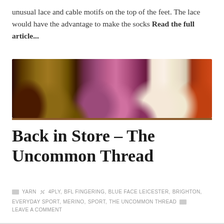unusual lace and cable motifs on the top of the feet. The lace would have the advantage to make the socks Read the full article...
[Figure (photo): Five skeins of yarn arranged side by side: dark burgundy, olive/mustard yellow, pink/mauve, cream/white speckled, and rust/burnt orange.]
Back in Store – The Uncommon Thread
YARN  4PLY, BFL FINGERING, BLUE FACE LEICESTER, BRIGHTON, EVERYDAY SPORT, MERINO, SPORT, THE UNCOMMON THREAD  LEAVE A COMMENT